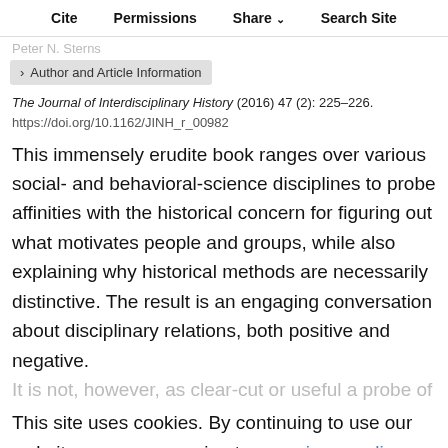Cite  Permissions  Share  Search Site
> Author and Article Information
The Journal of Interdisciplinary History (2016) 47 (2): 225–226.
https://doi.org/10.1162/JINH_r_00982
This immensely erudite book ranges over various social- and behavioral-science disciplines to probe affinities with the historical concern for figuring out what motivates people and groups, while also explaining why historical methods are necessarily distinctive. The result is an engaging conversation about disciplinary relations, both positive and negative.
It is not, however, as clear-cut or useful a probe of
This site uses cookies. By continuing to use our website, you are agreeing to our privacy policy.
Accept
illustrate the kinds of motivational concerns that